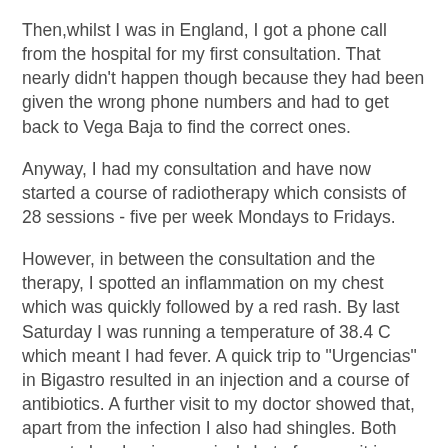Then,whilst I was in England, I got a phone call from the hospital for my first consultation. That nearly didn't happen though because they had been given the wrong phone numbers and had to get back to Vega Baja to find the correct ones.
Anyway, I had my consultation and have now started a course of radiotherapy which consists of 28 sessions - five per week Mondays to Fridays.
However, in between the consultation and the therapy, I spotted an inflammation on my chest which was quickly followed by a red rash. By last Saturday I was running a temperature of 38.4 C which meant I had fever. A quick trip to "Urgencias" in Bigastro resulted in an injection and a course of antibiotics. A further visit to my doctor showed that, apart from the infection I also had shingles. Both seem to be clearing up nicely but of course it is something I could have done without.
I have been pleased by the number of people who have heard about my condition and have taken the trouble to